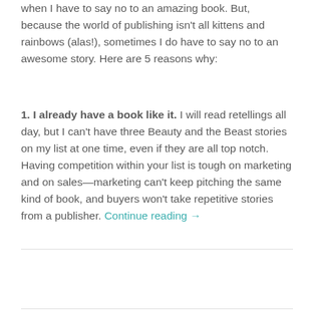when I have to say no to an amazing book. But, because the world of publishing isn't all kittens and rainbows (alas!), sometimes I do have to say no to an awesome story. Here are 5 reasons why:
1. I already have a book like it. I will read retellings all day, but I can't have three Beauty and the Beast stories on my list at one time, even if they are all top notch. Having competition within your list is tough on marketing and on sales—marketing can't keep pitching the same kind of book, and buyers won't take repetitive stories from a publisher. Continue reading →